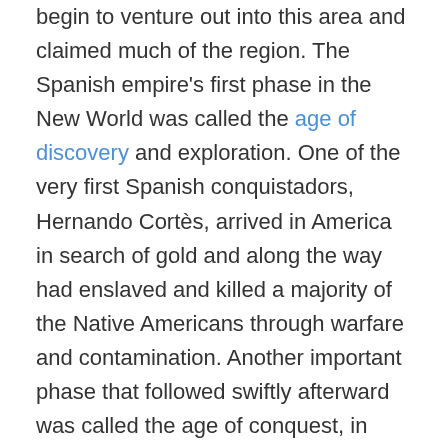begin to venture out into this area and claimed much of the region. The Spanish empire's first phase in the New World was called the age of discovery and exploration. One of the very first Spanish conquistadors, Hernando Cortès, arrived in America in search of gold and along the way had enslaved and killed a majority of the Native Americans through warfare and contamination. Another important phase that followed swiftly afterward was called the age of conquest, in which the Spaniards established their dominance over the natives through military forces. One of the last phases was known as the Ordinances of Discovery, which took place in the 1570s and enforced laws that banned the inhuman military conquests that were occurring among the natives. Many of Spanish expeditions into America had b...